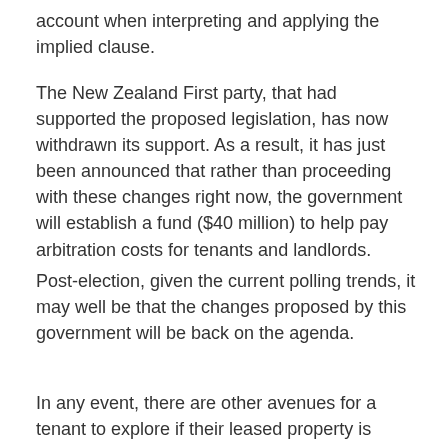account when interpreting and applying the implied clause.
The New Zealand First party, that had supported the proposed legislation, has now withdrawn its support. As a result, it has just been announced that rather than proceeding with these changes right now, the government will establish a fund ($40 million) to help pay arbitration costs for tenants and landlords.
Post-election, given the current polling trends, it may well be that the changes proposed by this government will be back on the agenda.
In any event, there are other avenues for a tenant to explore if their leased property is damaged to the extent